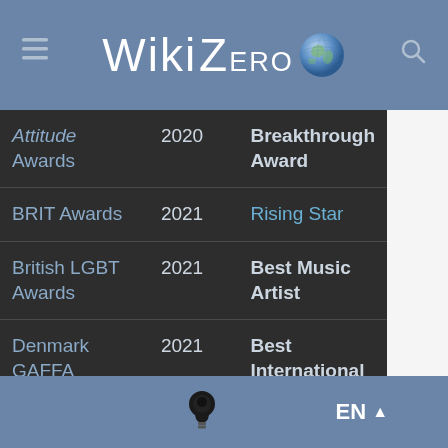WikiZero
| Award | Year | Category |
| --- | --- | --- |
| Attitude Awards | 2020 | Breakthrough Award |
| BRIT Awards | 2021 | Rising Star |
| British LGBT Awards | 2021 | Best Music Artist |
| Denmark GAFFA Awards | 2021 | Best International New Act |
| Denmark GAFFA Awards | 2021 | Best... |
EN